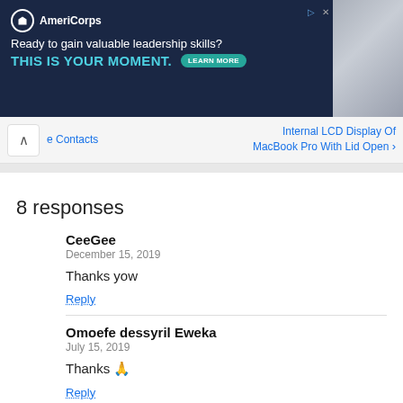[Figure (other): AmeriCorps advertisement banner with dark navy background. Logo, tagline 'Ready to gain valuable leadership skills?', call-to-action 'THIS IS YOUR MOMENT.' with LEARN MORE button, and photo of people on right side.]
e Contacts    Internal LCD Display Of MacBook Pro With Lid Open
8 responses
CeeGee
December 15, 2019

Thanks yow

Reply
Omoefe dessyril Eweka
July 15, 2019

Thanks 🙏

Reply
Izzy
November 30, 2016